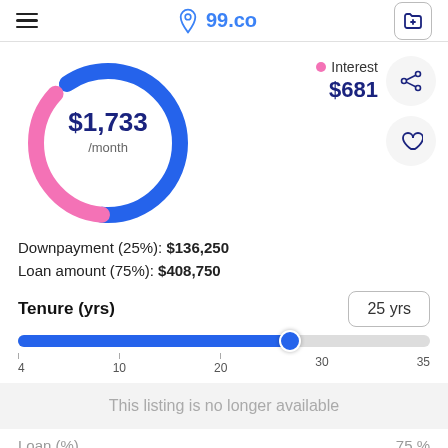99.co
[Figure (donut-chart): Donut chart showing monthly payment of $1,733/month split between principal (blue) and interest (pink). Interest portion shown in pink.]
Interest $681
Downpayment (25%): $136,250
Loan amount (75%): $408,750
Tenure (yrs)
25 yrs
[Figure (other): Horizontal slider showing tenure set to 25 years on a scale from 4 to 35 years.]
This listing is no longer available
Loan (%)
75 %